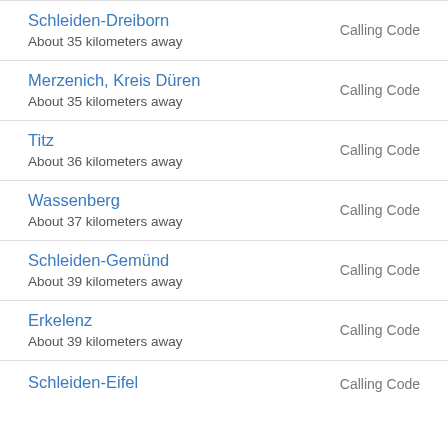Schleiden-Dreiborn
About 35 kilometers away
Calling Code
Merzenich, Kreis Düren
About 35 kilometers away
Calling Code
Titz
About 36 kilometers away
Calling Code
Wassenberg
About 37 kilometers away
Calling Code
Schleiden-Gemünd
About 39 kilometers away
Calling Code
Erkelenz
About 39 kilometers away
Calling Code
Schleiden-Eifel
Calling Code